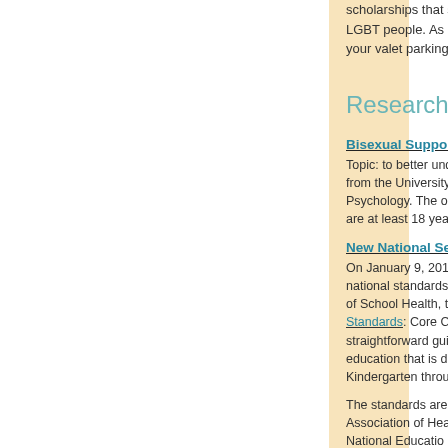scholarships that s... LGBT people. As if... your valet parking i...
Research
Bisexual Support
Topic: to better unc... from the University... Psychology. The o... are at least 18 yea...
New National Sex
On January 9, 201... national standards... of School Health, t... Standards: Core C... straightforward gui... education that is d... Kindergarten throu...
The standards are... Association of Hea... National Educatio... State Leaders of H... Future of Sex Educ... content experts, m... educators, and yo...
download the stand...
Job Opportunitie...